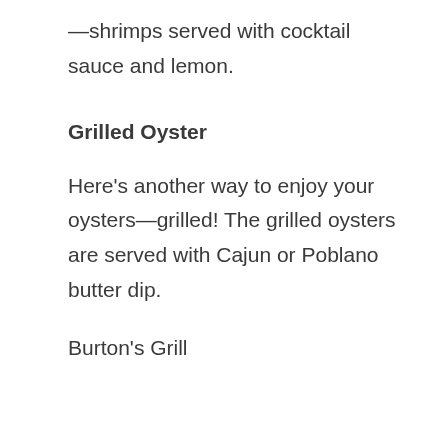—shrimps served with cocktail sauce and lemon.
Grilled Oyster
Here’s another way to enjoy your oysters—grilled! The grilled oysters are served with Cajun or Poblano butter dip.
Burton’s Grill